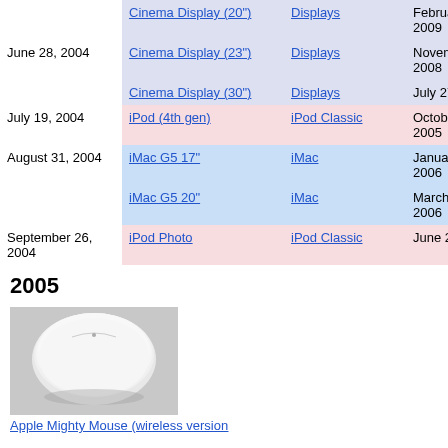| Date | Product | Category | Discontinued |
| --- | --- | --- | --- |
|  | Cinema Display (20") | Displays | February 2009 |
| June 28, 2004 | Cinema Display (23") | Displays | November 2008 |
|  | Cinema Display (30") | Displays | July 27, 2010 |
| July 19, 2004 | iPod (4th gen) | iPod Classic | October 12, 2005 |
| August 31, 2004 | iMac G5 17" | iMac | January 10, 2006 |
|  | iMac G5 20" | iMac | March 20, 2006 |
| September 26, 2004 | iPod Photo | iPod Classic | June 28, 2005 |
2005
[Figure (photo): Apple Mighty Mouse (wireless version) - white mouse on gray background]
Apple Mighty Mouse (wireless version